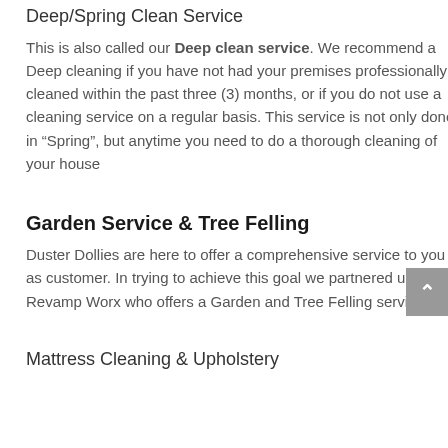Deep/Spring Clean Service
This is also called our Deep clean service. We recommend a Deep cleaning if you have not had your premises professionally cleaned within the past three (3) months, or if you do not use a cleaning service on a regular basis. This service is not only done in “Spring”, but anytime you need to do a thorough cleaning of your house
Garden Service & Tree Felling
Duster Dollies are here to offer a comprehensive service to you as customer. In trying to achieve this goal we partnered up with Revamp Worx who offers a Garden and Tree Felling service.
Mattress Cleaning & Upholstery